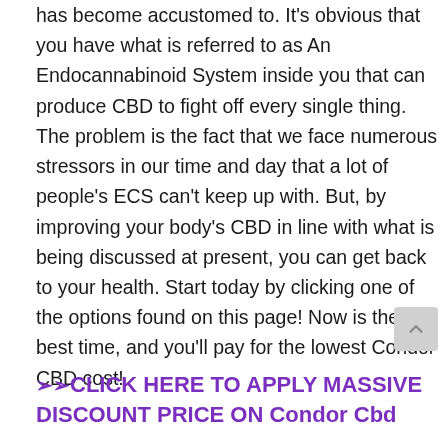has become accustomed to. It's obvious that you have what is referred to as An Endocannabinoid System inside you that can produce CBD to fight off every single thing. The problem is the fact that we face numerous stressors in our time and day that a lot of people's ECS can't keep up with. But, by improving your body's CBD in line with what is being discussed at present, you can get back to your health. Start today by clicking one of the options found on this page! Now is the best time, and you'll pay for the lowest Condor CBD cost!
➢➢CLICK HERE TO APPLY MASSIVE DISCOUNT PRICE ON Condor Cbd